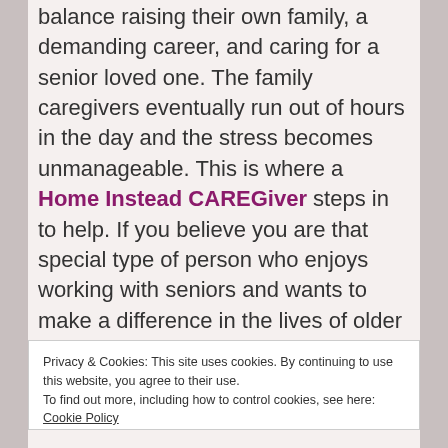balance raising their own family, a demanding career, and caring for a senior loved one. The family caregivers eventually run out of hours in the day and the stress becomes unmanageable. This is where a Home Instead CAREGiver steps in to help. If you believe you are that special type of person who enjoys working with seniors and wants to make a difference in the lives of older adults as a career, being a Home Instead Senior Care network CAREGiver might be the career for you. Home Instead Senior Care Minneapolis provides training as well as on going 24/7 support to our CAREGivers.
Privacy & Cookies: This site uses cookies. By continuing to use this website, you agree to their use.
To find out more, including how to control cookies, see here: Cookie Policy